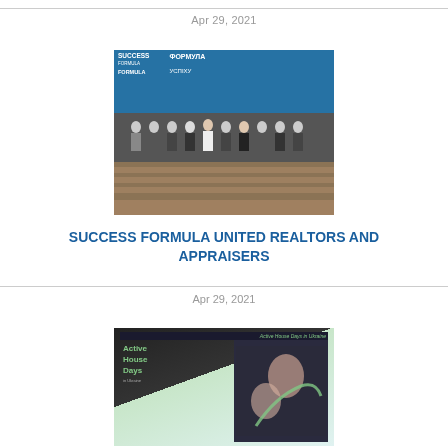Apr 29, 2021
[Figure (photo): Group photo of people standing in front of a building with a blue banner reading 'SUCCESS FORMULA / ФОРМУЛА УСПІХУ']
SUCCESS FORMULA UNITED REALTORS AND APPRAISERS
Apr 29, 2021
[Figure (photo): Photo showing 'Active House Days in Ukraine' event banner with people in the foreground]